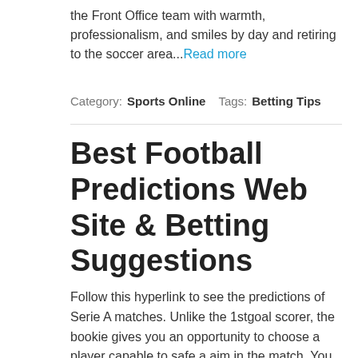the Front Office team with warmth, professionalism, and smiles by day and retiring to the soccer area...Read more
Category: Sports Online  Tags: Betting Tips
Best Football Predictions Web Site & Betting Suggestions
Follow this hyperlink to see the predictions of Serie A matches. Unlike the 1stgoal scorer, the bookie gives you an opportunity to choose a player capable to safe a aim in the match. You simply must navigate to the appropriate